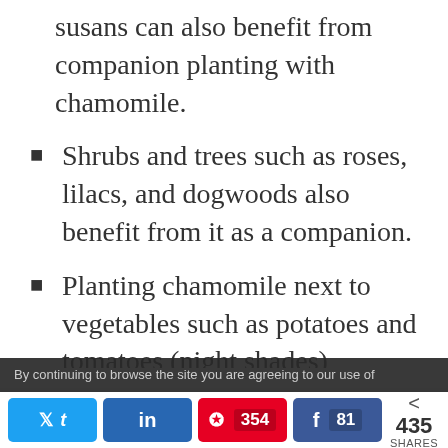susans can also benefit from companion planting with chamomile.
Shrubs and trees such as roses, lilacs, and dogwoods also benefit from it as a companion.
Planting chamomile next to vegetables such as potatoes and tomatoes (night shades)
By continuing to browse the site you are agreeing to our use of
Twitter share | LinkedIn share | Pinterest 354 | Facebook 81 | < 435 SHARES